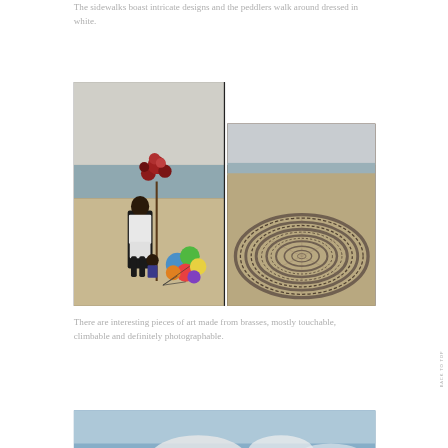The sidewalks boast intricate designs and the peddlers walk around dressed in white.
[Figure (photo): Two photos side by side divided by a vertical black line. Left: a person dressed in white selling balloons and flowers on a beach. Right: intricate circular spiral pattern drawn in sand on a beach.]
There are interesting pieces of art made from brasses, mostly touchable, climbable and definitely photographable.
[Figure (photo): Partial view of a blue sky with clouds, bottom of the image cut off.]